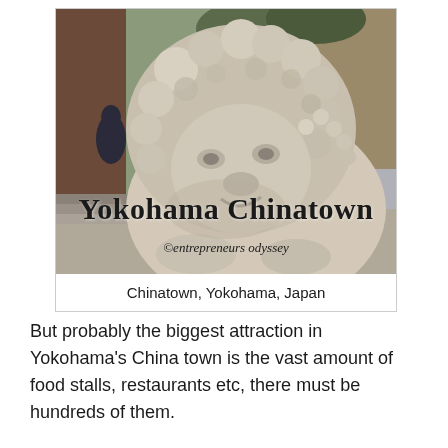[Figure (photo): Close-up photograph of a white stone Chinese guardian lion (foo dog) statue, with 'Yokohama Chinatown' text overlay and '©entrepreneurs odyssey' credit overlay. Background shows steps and blurred figures.]
Chinatown, Yokohama, Japan
But probably the biggest attraction in Yokohama's China town is the vast amount of food stalls, restaurants etc, there must be hundreds of them.